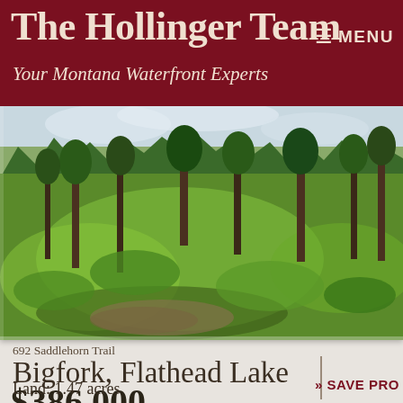The Hollinger Team — Your Montana Waterfront Experts | MENU
[Figure (photo): Forested hillside with green undergrowth, tall conifer trees, and cloudy sky — a land parcel listing photo for 692 Saddlehorn Trail, Bigfork, Flathead Lake]
692 Saddlehorn Trail
Bigfork, Flathead Lake
$386,000
Land: 1.47 acres
» SAVE PRO